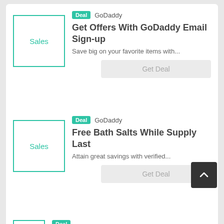[Figure (other): Card with Sales thumbnail box, Deal badge, GoDaddy brand, title 'Get Offers With GoDaddy Email Sign-up', description 'Save big on your favorite items with...', and 'Get Deal' button]
[Figure (other): Card with Sales thumbnail box, Deal badge, GoDaddy brand, title 'Free Bath Salts While Supply Last', description 'Attain great savings with verified...', and 'Get Deal' button]
[Figure (other): Partial card visible at bottom of page with Sales thumbnail box and Deal badge]